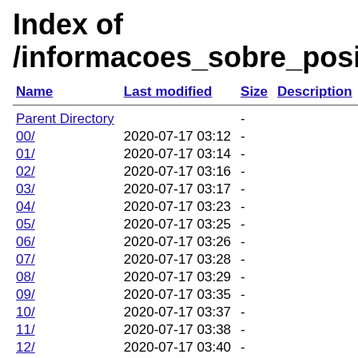Index of /informacoes_sobre_posicioname
| Name | Last modified | Size | Description |
| --- | --- | --- | --- |
| Parent Directory |  | - |  |
| 00/ | 2020-07-17 03:12 | - |  |
| 01/ | 2020-07-17 03:14 | - |  |
| 02/ | 2020-07-17 03:16 | - |  |
| 03/ | 2020-07-17 03:17 | - |  |
| 04/ | 2020-07-17 03:23 | - |  |
| 05/ | 2020-07-17 03:25 | - |  |
| 06/ | 2020-07-17 03:26 | - |  |
| 07/ | 2020-07-17 03:28 | - |  |
| 08/ | 2020-07-17 03:29 | - |  |
| 09/ | 2020-07-17 03:35 | - |  |
| 10/ | 2020-07-17 03:37 | - |  |
| 11/ | 2020-07-17 03:38 | - |  |
| 12/ | 2020-07-17 03:40 | - |  |